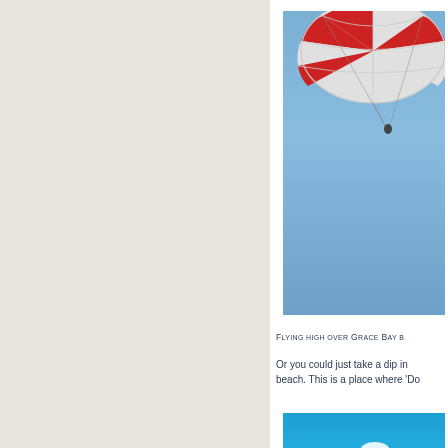[Figure (photo): Parasailing canopy viewed from below against a blue sky over Grace Bay]
Flying high over Grace Bay b…
Or you could just take a dip in… beach. This is a place where 'Do…
[Figure (photo): Turquoise beach and sea with blue sky and white clouds, Grace Bay beach scene]